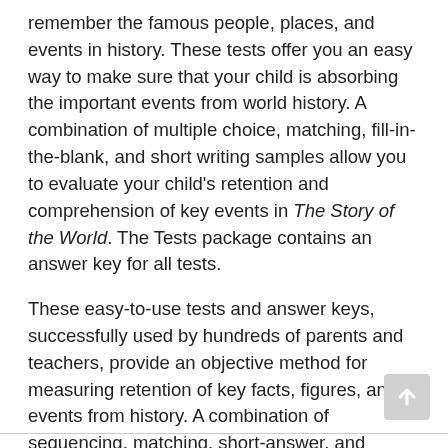remember the famous people, places, and events in history. These tests offer you an easy way to make sure that your child is absorbing the important events from world history. A combination of multiple choice, matching, fill-in-the-blank, and short writing samples allow you to evaluate your child's retention and comprehension of key events in The Story of the World. The Tests package contains an answer key for all tests.
These easy-to-use tests and answer keys, successfully used by hundreds of parents and teachers, provide an objective method for measuring retention of key facts, figures, and events from history. A combination of sequencing, matching, short-answer, and essay-style questions gives students a chance to show what they've learned. Used with The Story of the World Text Book and Activity Book (sold separately), the Test and Answer Key gives educators a complete history curriculum for their elementary school students.